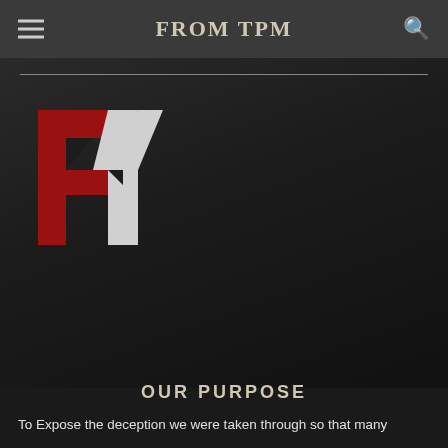FROM TPM
[Figure (logo): FY logo with red stylized F and white stylized Y letters on dark background]
OUR PURPOSE
To Expose the deception we were taken through so that many